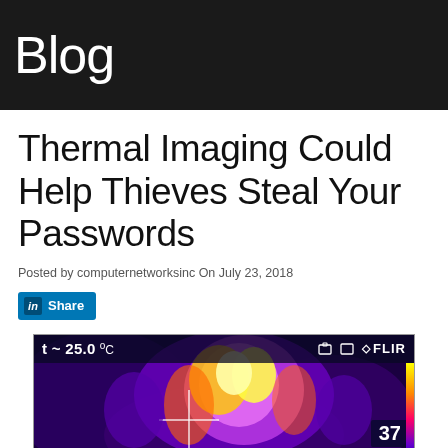Blog
Thermal Imaging Could Help Thieves Steal Your Passwords
Posted by computernetworksinc On July 23, 2018
[Figure (screenshot): LinkedIn Share button]
[Figure (photo): FLIR thermal camera screenshot showing a thermal image with temperature reading ~ 25.0 °C and number 37 overlay, FLIR logo visible in top right]